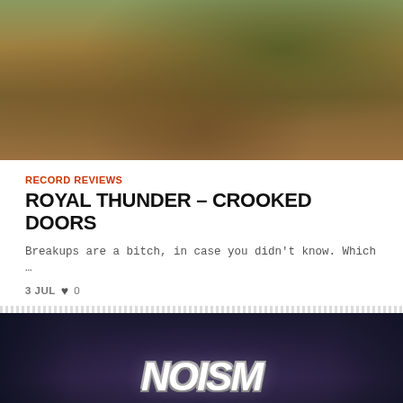[Figure (photo): Outdoor scene with dogs and overgrown vegetation, warm tones, album art style photo for Royal Thunder – Crooked Doors]
RECORD REVIEWS
ROYAL THUNDER – CROOKED DOORS
Breakups are a bitch, in case you didn't know. Which …
3 JUL  ♥ 0
[Figure (photo): Dark album artwork with stylized band name NOISM in white graffiti-style lettering over dark floral background]